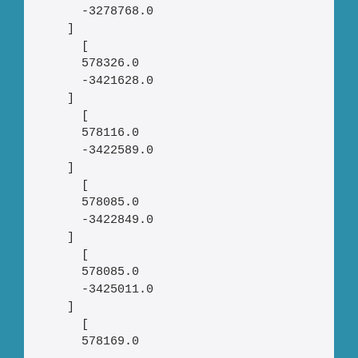-3278768.0
]
  [
  578326.0
  -3421628.0
  ]
  [
  578116.0
  -3422589.0
  ]
  [
  578085.0
  -3422849.0
  ]
  [
  578085.0
  -3425011.0
  ]
  [
  578169.0